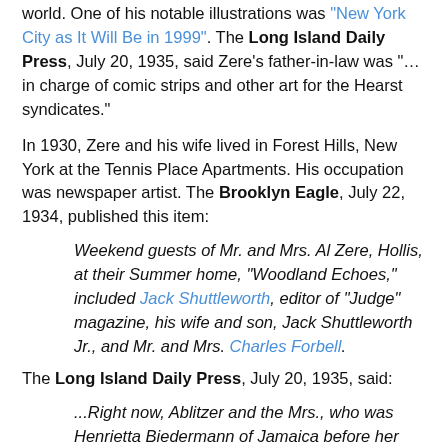world. One of his notable illustrations was "New York City as It Will Be in 1999". The Long Island Daily Press, July 20, 1935, said Zere's father-in-law was "…in charge of comic strips and other art for the Hearst syndicates."
In 1930, Zere and his wife lived in Forest Hills, New York at the Tennis Place Apartments. His occupation was newspaper artist. The Brooklyn Eagle, July 22, 1934, published this item:
Weekend guests of Mr. and Mrs. Al Zere, Hollis, at their Summer home, "Woodland Echoes," included Jack Shuttleworth, editor of "Judge" magazine, his wife and son, Jack Shuttleworth Jr., and Mr. and Mrs. Charles Forbell.
The Long Island Daily Press, July 20, 1935, said:
...Right now, Ablitzer and the Mrs., who was Henrietta Biedermann of Jamaica before her marriage, are at their summer home on Shelter Island. Mr. Ablitzer spends all of his spare time fishing for weaks and blues in Peconic Bay and